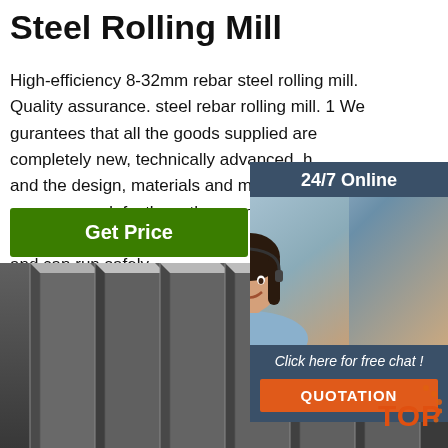Steel Rolling Mill
High-efficiency 8-32mm rebar steel rolling mill. Quality assurance. steel rebar rolling mill. 1 We gurantees that all the goods supplied are completely new, technically advanced, h and the design, materials and manufactu process are defectless, they conform to technical performance required by the cu and can run safely.
[Figure (infographic): 24/7 Online support panel with woman wearing headset and 'Click here for free chat!' text and QUOTATION button]
[Figure (photo): Close-up photo of steel rebar/angle iron bars stacked together, dark metallic, industrial]
Get Price